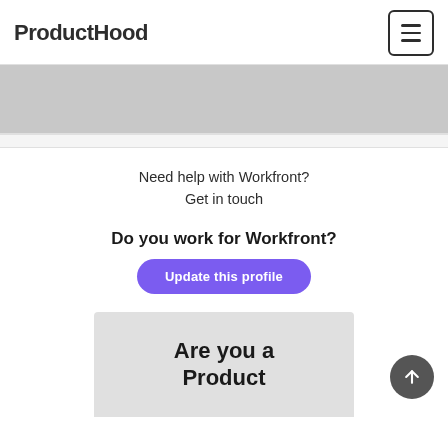Producthood
[Figure (screenshot): Gray screenshot/image strip at top of page]
Need help with Workfront?
Get in touch
Do you work for Workfront?
Update this profile
[Figure (screenshot): Screenshot of a product tool with text 'Are you a Product' visible]